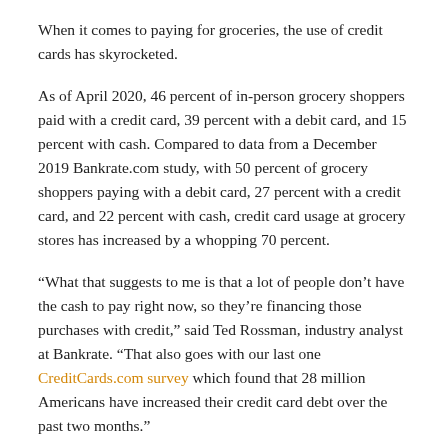When it comes to paying for groceries, the use of credit cards has skyrocketed.
As of April 2020, 46 percent of in-person grocery shoppers paid with a credit card, 39 percent with a debit card, and 15 percent with cash. Compared to data from a December 2019 Bankrate.com study, with 50 percent of grocery shoppers paying with a debit card, 27 percent with a credit card, and 22 percent with cash, credit card usage at grocery stores has increased by a whopping 70 percent.
“What that suggests to me is that a lot of people don’t have the cash to pay right now, so they’re financing those purchases with credit,” said Ted Rossman, industry analyst at Bankrate. “That also goes with our last one CreditCards.com survey which found that 28 million Americans have increased their credit card debt over the past two months.”